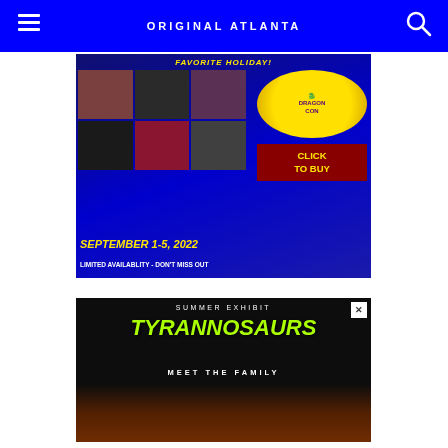ORIGINAL ATLANTA
[Figure (illustration): Dragon Con advertisement banner featuring celebrity headshots in a grid, Dragon Con logo, yellow text reading 'FAVORITE HOLIDAY?', 'SEPTEMBER 1-5, 2022', 'LIMITED AVAILABLITY - DON'T MISS OUT', and a 'CLICK TO BUY' button in maroon on a dark blue background.]
[Figure (illustration): Tyrannosaurs Meet the Family summer exhibit advertisement on a dark background with green grunge-style lettering for 'TYRANNOSAURS' and white text 'MEET THE FAMILY', 'SUMMER EXHIBIT', with fossil/dinosaur imagery at the bottom.]